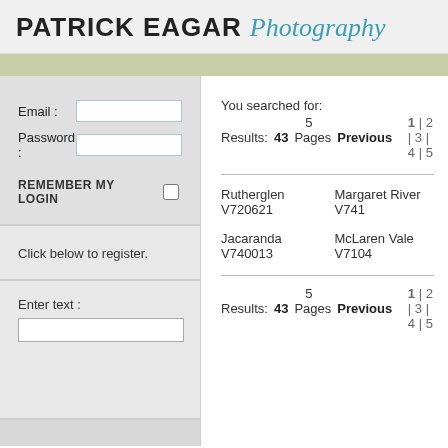PATRICK EAGAR Photography
Email :
Password :
REMEMBER MY LOGIN
Click below to register.
Enter text :
You searched for:
Results: 43   5 Pages   Previous   1 | 2 | 3 | 4 | 5
Rutherglen V720621
Margaret River V741
Jacaranda V740013
McLaren Vale V7104
Results: 43   5 Pages   Previous   1 | 2 | 3 | 4 | 5